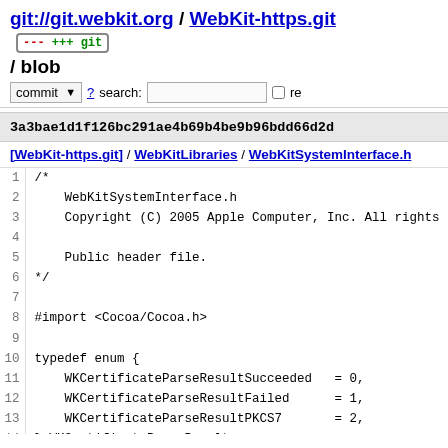git://git.webkit.org / WebKit-https.git +++ git / blob
commit ? search: re
3a3bae1d1f126bc291ae4b69b4be9b96bdd66d2d
[WebKit-https.git] / WebKitLibraries / WebKitSystemInterface.h
1 /*
2     WebKitSystemInterface.h
3     Copyright (C) 2005 Apple Computer, Inc. All rights
4
5     Public header file.
6 */
7
8 #import <Cocoa/Cocoa.h>
9
10 typedef enum {
11     WKCertificateParseResultSucceeded = 0,
12     WKCertificateParseResultFailed    = 1,
13     WKCertificateParseResultPKCS7     = 2,
14 } WKCertificateParseResult;
15
16 CFStringRef WKCopyCFLocalizationPreferredName(CFStringR
17 CFStringRef WKSignedPublicKeyAndChallengeString(unsigne
18 WKCertificateParseResult WKAddCertificatesToKeychainFro
19
20 NSString *WKGetPreferredExtensionForMIMEType(NSString *
21 NSString *WKGetExtensionForMIMEType(NSString *...